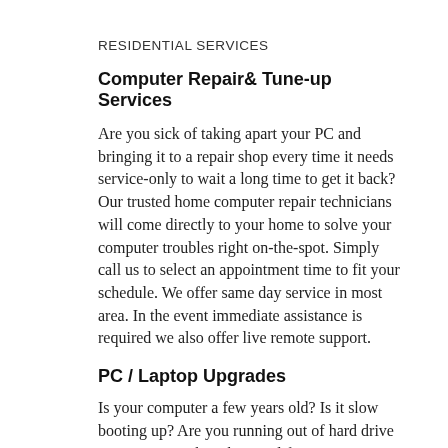RESIDENTIAL SERVICES
Computer Repair& Tune-up Services
Are you sick of taking apart your PC and bringing it to a repair shop every time it needs service-only to wait a long time to get it back? Our trusted home computer repair technicians will come directly to your home to solve your computer troubles right on-the-spot. Simply call us to select an appointment time to fit your schedule. We offer same day service in most area. In the event immediate assistance is required we also offer live remote support.
PC / Laptop Upgrades
Is your computer a few years old? Is it slow booting up? Are you running out of hard drive space? We can breathe new life into your PC/Laptop by upgrading some of its critical components. Even if your system is